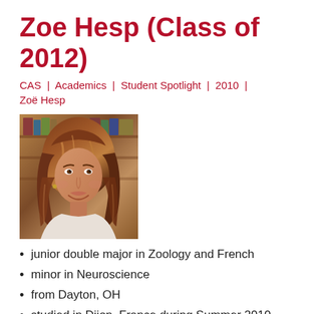Zoe Hesp (Class of 2012)
CAS | Academics | Student Spotlight | 2010 | Zoë Hesp
[Figure (photo): Portrait photo of Zoë Hesp, a young woman with shoulder-length auburn/brown hair, smiling, wearing a white top, photographed indoors.]
junior double major in Zoology and French
minor in Neuroscience
from Dayton, OH
studied in Dijon, France during Summer 2010